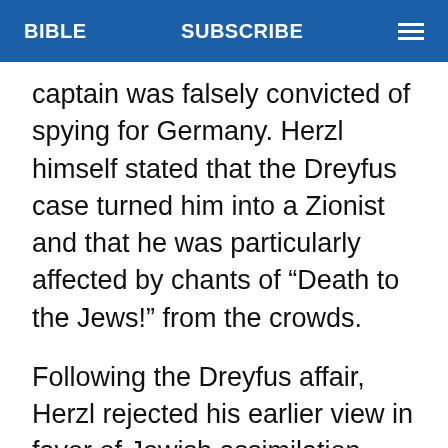BIBLE   SUBSCRIBE
captain was falsely convicted of spying for Germany. Herzl himself stated that the Dreyfus case turned him into a Zionist and that he was particularly affected by chants of “Death to the Jews!” from the crowds.
Following the Dreyfus affair, Herzl rejected his earlier view in favor of Jewish assimilation, concluding  that antisemitism could not be defeated or cured, only avoided, and that the only